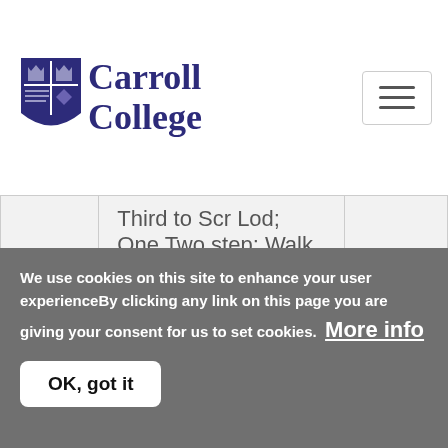Carroll College
|  |  |  |
| --- | --- | --- |
|  | Third to Scr Lod; One Two step; Walk 2 <prepare>; |  |
|  | Go/dfinger (Mambo) |  |
|  | Aida ; Bk basic ; Pattycake tap ; Bk |  |
We use cookies on this site to enhance your user experienceBy clicking any link on this page you are giving your consent for us to set cookies. More info
OK, got it